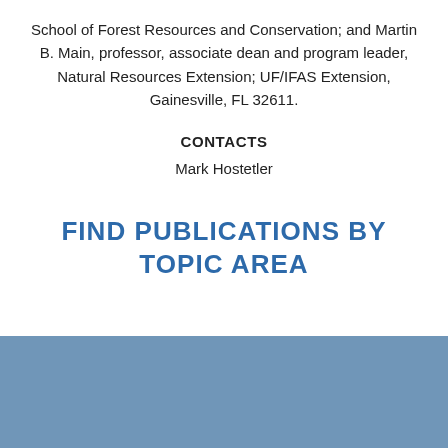School of Forest Resources and Conservation; and Martin B. Main, professor, associate dean and program leader, Natural Resources Extension; UF/IFAS Extension, Gainesville, FL 32611.
CONTACTS
Mark Hostetler
FIND PUBLICATIONS BY TOPIC AREA
[Figure (other): Solid steel blue decorative band at the bottom of the page]